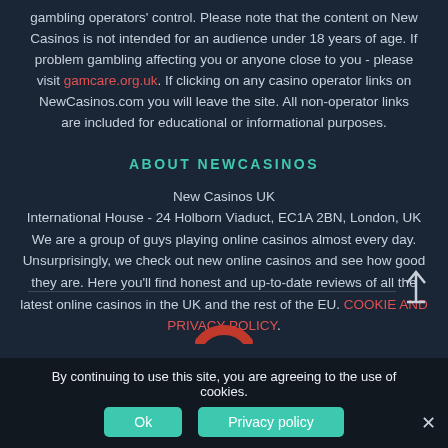gambling operators' control. Please note that the content on New Casinos is not intended for an audience under 18 years of age. If problem gambling affecting you or anyone close to you - please visit gamcare.org.uk. If clicking on any casino operator links on NewCasinos.com you will leave the site. All non-operator links are included for educational or informational purposes.
ABOUT NEWCASINOS
New Casinos UK
International House - 24 Holborn Viaduct, EC1A 2BN, London, UK
We are a group of guys playing online casinos almost every day. Unsurprisingly, we check out new online casinos and see how good they are. Here you'll find honest and up-to-date reviews of all the latest online casinos in the UK and the rest of the EU. COOKIE AND PRIVACY POLICY.
[Figure (logo): Red arc logo at bottom of page]
By continuing to use this site, you are agreeing to the use of cookies.